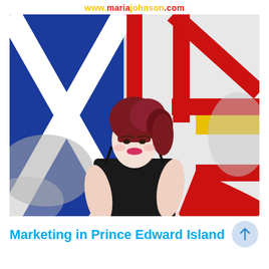www.mariajohnson.com
[Figure (photo): Woman with red updo hair wearing a black top, posed in front of composite flags including Scottish Saltire and Newfoundland flag backgrounds]
Marketing in Prince Edward Island